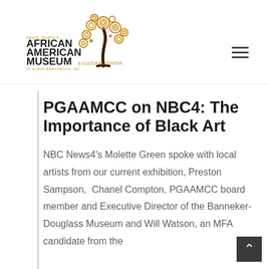[Figure (logo): Prince George's African American Museum & Cultural Center at North Brentwood logo with decorative tree illustration]
PGAAMCC on NBC4: The Importance of Black Art
NBC News4's Molette Green spoke with local artists from our current exhibition, Preston Sampson,  Chanel Compton, PGAAMCC board member and Executive Director of the Banneker-Douglass Museum and Will Watson, an MFA candidate from the